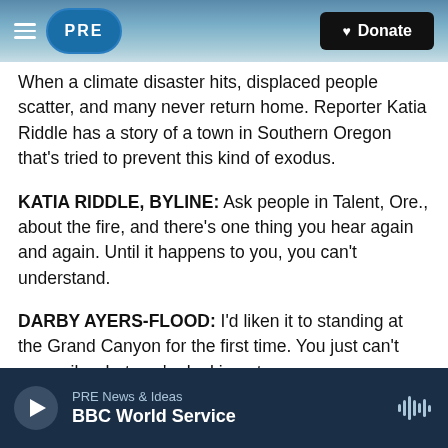PRE | Donate
When a climate disaster hits, displaced people scatter, and many never return home. Reporter Katia Riddle has a story of a town in Southern Oregon that's tried to prevent this kind of exodus.
KATIA RIDDLE, BYLINE: Ask people in Talent, Ore., about the fire, and there's one thing you hear again and again. Until it happens to you, you can't understand.
DARBY AYERS-FLOOD: I'd liken it to standing at the Grand Canyon for the first time. You just can't reconcile what you're looking at.
PRE News & Ideas
BBC World Service